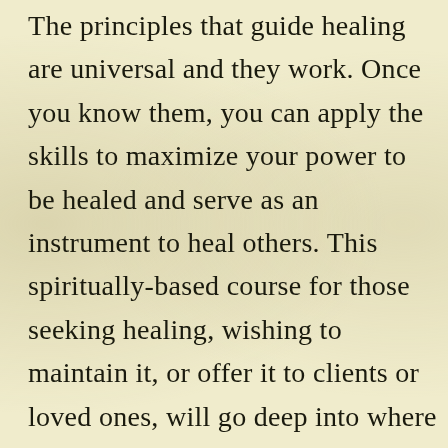The principles that guide healing are universal and they work. Once you know them, you can apply the skills to maximize your power to be healed and serve as an instrument to heal others. This spiritually-based course for those seeking healing, wishing to maintain it, or offer it to clients or loved ones, will go deep into where healing comes from and why you deserve it. Alan will offer many practical examples of healing success stories, including people who were told they were unhealable. This unique, heart-centered, high-minded program, will give you inspiration and skills to locate the source of wellness within you and bring it forth.